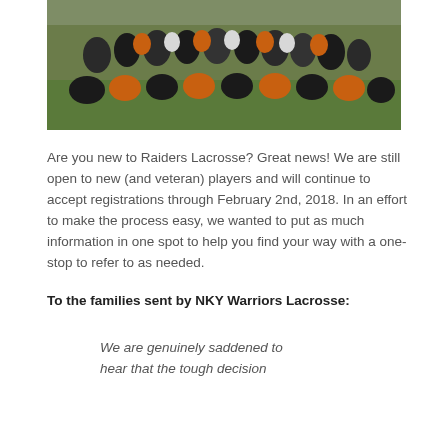[Figure (photo): Group photo of youth lacrosse players in orange and black helmets and gear, posed together indoors on a green turf field.]
Are you new to Raiders Lacrosse? Great news! We are still open to new (and veteran) players and will continue to accept registrations through February 2nd, 2018. In an effort to make the process easy, we wanted to put as much information in one spot to help you find your way with a one-stop to refer to as needed.
To the families sent by NKY Warriors Lacrosse:
We are genuinely saddened to hear that the tough decision